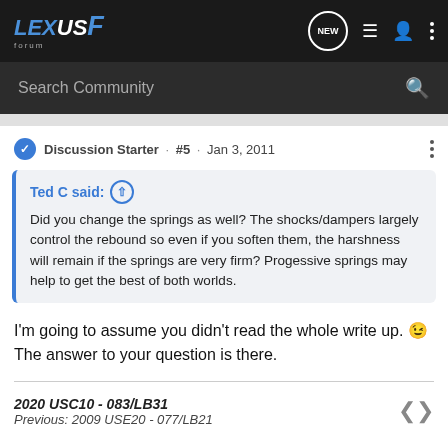Lexus F Forum — Search Community
Discussion Starter · #5 · Jan 3, 2011
Ted C said: Did you change the springs as well? The shocks/dampers largely control the rebound so even if you soften them, the harshness will remain if the springs are very firm? Progessive springs may help to get the best of both worlds.
I'm going to assume you didn't read the whole write up. 😉 The answer to your question is there.
2020 USC10 - 083/LB31
Previous: 2009 USE20 - 077/LB21